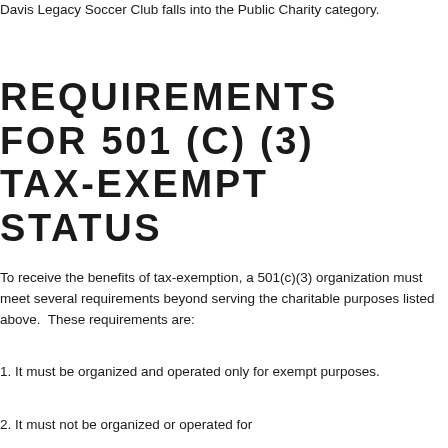Davis Legacy Soccer Club falls into the Public Charity category.
REQUIREMENTS FOR 501 (C) (3) TAX-EXEMPT STATUS
To receive the benefits of tax-exemption, a 501(c)(3) organization must meet several requirements beyond serving the charitable purposes listed above.  These requirements are:
1. It must be organized and operated only for exempt purposes.
2. It must not be organized or operated for...